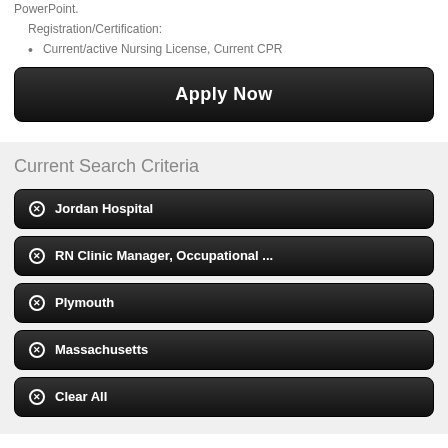PowerPoint.
Registration/Certification:
Current/active Nursing License, Current CPR
Apply Now
Current Search Criteria
Jordan Hospital
RN Clinic Manager, Occupational ...
Plymouth
Massachusetts
Clear All